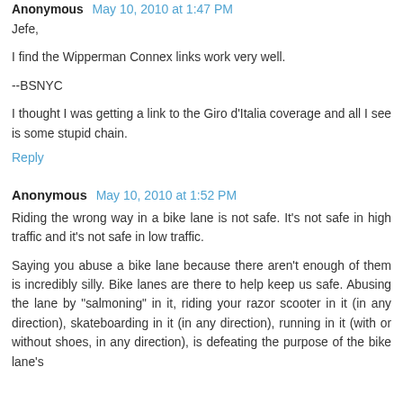Anonymous May 10, 2010 at 1:47 PM
Jefe,
I find the Wipperman Connex links work very well.
--BSNYC
I thought I was getting a link to the Giro d'Italia coverage and all I see is some stupid chain.
Reply
Anonymous May 10, 2010 at 1:52 PM
Riding the wrong way in a bike lane is not safe. It's not safe in high traffic and it's not safe in low traffic.
Saying you abuse a bike lane because there aren't enough of them is incredibly silly. Bike lanes are there to help keep us safe. Abusing the lane by "salmoning" in it, riding your razor scooter in it (in any direction), skateboarding in it (in any direction), running in it (with or without shoes, in any direction), is defeating the purpose of the bike lane's